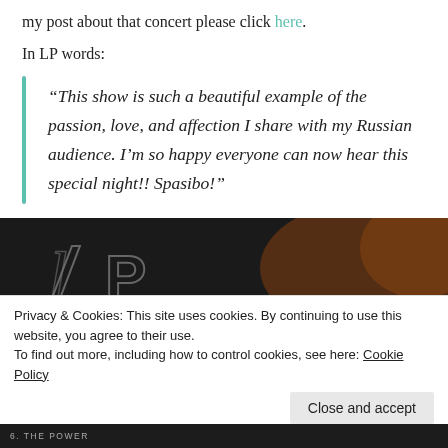my post about that concert please click here.
In LP words:
“This show is such a beautiful example of the passion, love, and affection I share with my Russian audience. I’m so happy everyone can now hear this special night!! Spasibo!”
[Figure (photo): Dark background album/artist image with stylized 'LP' logo in outline lettering, warm tones on the right side]
Privacy & Cookies: This site uses cookies. By continuing to use this website, you agree to their use.
To find out more, including how to control cookies, see here: Cookie Policy
Close and accept
6. THE POWER